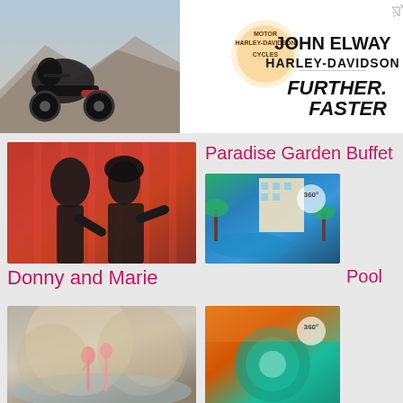[Figure (photo): John Elway Harley-Davidson advertisement banner with motorcycle photo, Harley-Davidson logo, brand name and 'Further. Faster.' tagline]
[Figure (photo): Donny and Marie performers on stage with orange background]
Paradise Garden Buffet
Donny and Marie
[Figure (photo): Pool area with palm trees and hotel building, 360 badge]
Pool
[Figure (photo): Flamingo Wildlife Habitat with birds and water]
[Figure (photo): Spa interior with circular pool, 360 badge]
Flamingo Wildlife Habitat
Spa
[Figure (photo): Go Pool area with colorful lounge chairs and palm trees]
[Figure (photo): Standard Room with white bedding and brown accent]
Go Pool
Standard Room
[Figure (photo): Gym interior with exercise equipment, 360 badge]
[Figure (photo): Luxury suite or room with ornate lighting]
Gym